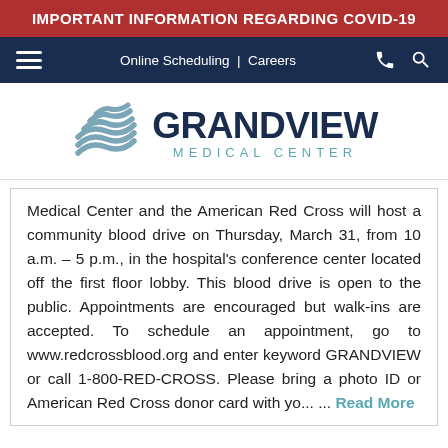IMPORTANT INFORMATION REGARDING COVID-19
[Figure (logo): Grandview Medical Center logo with stylized building icon and text]
Medical Center and the American Red Cross will host a community blood drive on Thursday, March 31, from 10 a.m. – 5 p.m., in the hospital's conference center located off the first floor lobby. This blood drive is open to the public. Appointments are encouraged but walk-ins are accepted. To schedule an appointment, go to www.redcrossblood.org and enter keyword GRANDVIEW or call 1-800-RED-CROSS. Please bring a photo ID or American Red Cross donor card with yo... ... Read More